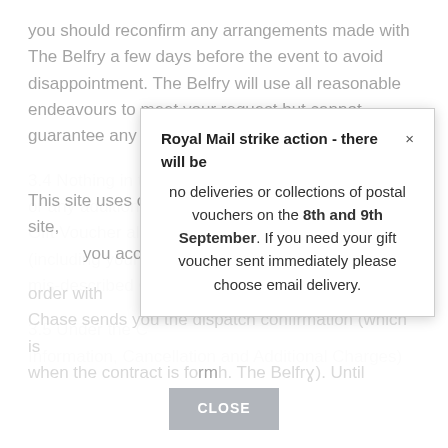you should reconfirm any arrangements made with The Belfry a few days before the event to avoid disappointment. The Belfry will use all reasonable endeavours to meet your request but cannot guarantee any specific date or time.
3.4 Nothing in the Consumer Terms and Conditions or any additional t[erms and Conditions affect your right to demand a] Gift Voucher alt[ered, repaired or replaced if it is faulty] (including your [statutory rights to a refund in respect of] mis-described G[ift Vouchers].
3.5 Under the C[onsumer Rights Act 2015 (Pre-Contract] Information, Cancellation and Additional Charges)
This site uses cookies. By continuing to browse the site, you accept our Cookie Policy.
order with [a Gift Voucher, you agree] that SK Chase sends you the dispatch confirmation (which is when the contract is fo[rmed with] The Belfry). Until
Royal Mail strike action - there will be no deliveries or collections of postal vouchers on the 8th and 9th September. If you need your gift voucher sent immediately please choose email delivery.